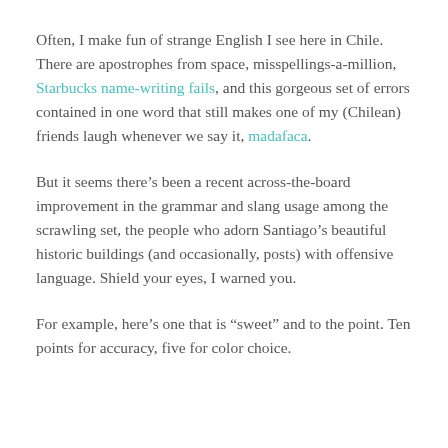Often, I make fun of strange English I see here in Chile. There are apostrophes from space, misspellings-a-million, Starbucks name-writing fails, and this gorgeous set of errors contained in one word that still makes one of my (Chilean) friends laugh whenever we say it, madafaca.
But it seems there’s been a recent across-the-board improvement in the grammar and slang usage among the scrawling set, the people who adorn Santiago’s beautiful historic buildings (and occasionally, posts) with offensive language. Shield your eyes, I warned you.
For example, here’s one that is “sweet” and to the point. Ten points for accuracy, five for color choice.